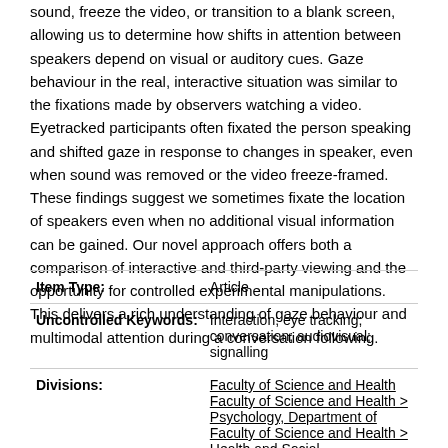sound, freeze the video, or transition to a blank screen, allowing us to determine how shifts in attention between speakers depend on visual or auditory cues. Gaze behaviour in the real, interactive situation was similar to the fixations made by observers watching a video. Eyetracked participants often fixated the person speaking and shifted gaze in response to changes in speaker, even when sound was removed or the video freeze-framed. These findings suggest we sometimes fixate the location of speakers even when no additional visual information can be gained. Our novel approach offers both a comparison of interactive and third-party viewing and the opportunity for controlled experimental manipulations. This delivers a rich understanding of gaze behaviour and multimodal attention during a conversation following.
| Field | Value |
| --- | --- |
| Item Type: | Article |
| Uncontrolled Keywords: | Interaction; eye tracking; conversation; audiovisual; signalling |
| Divisions: | Faculty of Science and Health
Faculty of Science and Health > Psychology, Department of
Faculty of Science and Health > Health and Social |